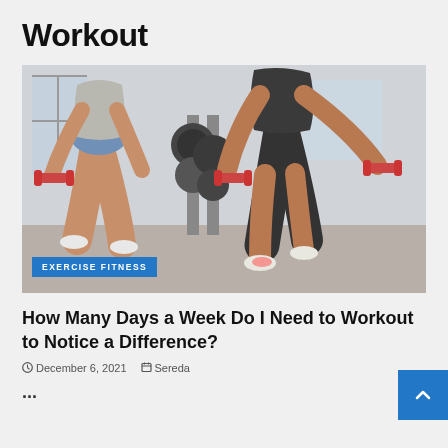Workout
[Figure (photo): Two people performing dumbbell lunges in a gym with red dumbbells, weight racks visible in background. Badge reads EXERCISE FITNESS.]
How Many Days a Week Do I Need to Workout to Notice a Difference?
December 6, 2021  Sereda
...